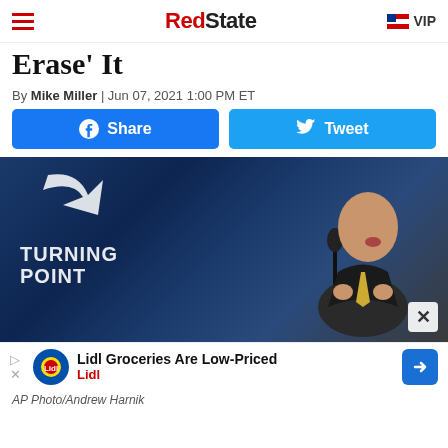RedState | VIP
Erase' It
By Mike Miller | Jun 07, 2021 1:00 PM ET
[Figure (other): Facebook Share and Twitter Tweet social sharing buttons]
[Figure (photo): Speaker at a Turning Point event, man in dark suit with yellow tie speaking at microphone in front of blue Turning Point USA banner]
[Figure (other): Lidl advertisement banner: Lidl Groceries Are Low-Priced]
AP Photo/Andrew Harnik